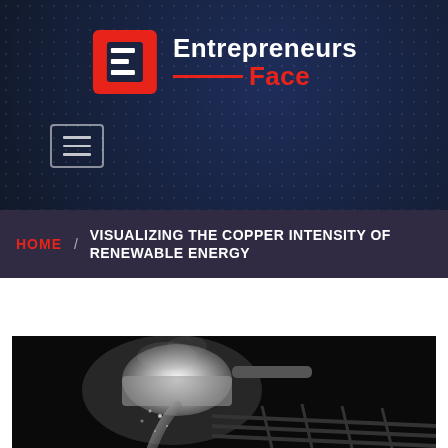[Figure (logo): Entrepreneurs Face logo with red angular bracket icon and text 'Entrepreneurs Face' on dark navy background]
[Figure (illustration): Hamburger/menu icon button with three horizontal lines inside a rectangle border]
HOME / VISUALIZING THE COPPER INTENSITY OF RENEWABLE ENERGY
[Figure (photo): Black and white industrial photo of molten metal being poured, showing a large crucible or ladle with sparks and steam, dramatic high-contrast lighting]